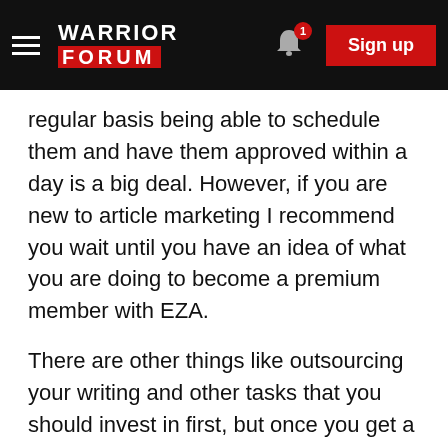WARRIOR FORUM — Sign up
regular basis being able to schedule them and have them approved within a day is a big deal. However, if you are new to article marketing I recommend you wait until you have an idea of what you are doing to become a premium member with EZA.
There are other things like outsourcing your writing and other tasks that you should invest in first, but once you get a solid $1,000 coming in each month from article marketing you can justify the $97